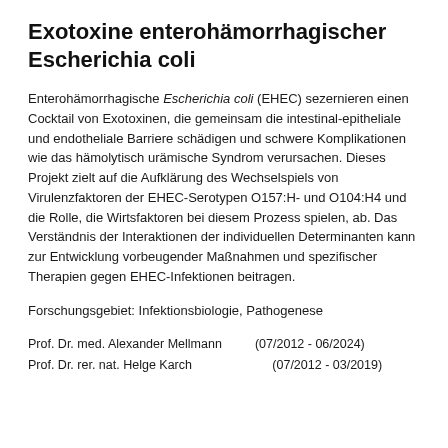Exotoxine enterohämorrhagischer Escherichia coli
Enterohämorrhagische Escherichia coli (EHEC) sezernieren einen Cocktail von Exotoxinen, die gemeinsam die intestinal-epitheliale und endotheliale Barriere schädigen und schwere Komplikationen wie das hämolytisch urämische Syndrom verursachen. Dieses Projekt zielt auf die Aufklärung des Wechselspiels von Virulenzfaktoren der EHEC-Serotypen O157:H- und O104:H4 und die Rolle, die Wirtsfaktoren bei diesem Prozess spielen, ab. Das Verständnis der Interaktionen der individuellen Determinanten kann zur Entwicklung vorbeugender Maßnahmen und spezifischer Therapien gegen EHEC-Infektionen beitragen.
Forschungsgebiet: Infektionsbiologie, Pathogenese
Prof. Dr. med. Alexander Mellmann (07/2012 - 06/2024)
Prof. Dr. rer. nat. Helge Karch (07/2012 - 03/2019)